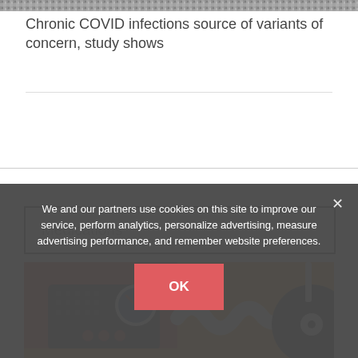[Figure (photo): Partial black and white photo at top of page, appears to be a news article image related to COVID]
Chronic COVID infections source of variants of concern, study shows
Medications
[Figure (illustration): Colorful retro illustration split into two panels: left panel shows a vintage radio on red background, right panel shows sound waves and a vinyl record on orange/yellow background]
We and our partners use cookies on this site to improve our service, perform analytics, personalize advertising, measure advertising performance, and remember website preferences.